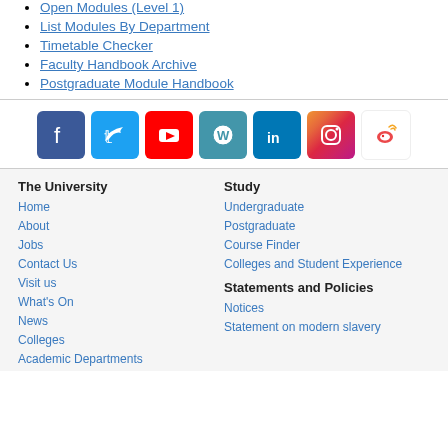Open Modules (Level 1)
List Modules By Department
Timetable Checker
Faculty Handbook Archive
Postgraduate Module Handbook
[Figure (infographic): Row of social media icons: Facebook, Twitter, YouTube, WordPress, LinkedIn, Instagram, Weibo]
The University
Home
About
Jobs
Contact Us
Visit us
What's On
News
Colleges
Academic Departments
Study
Undergraduate
Postgraduate
Course Finder
Colleges and Student Experience
Statements and Policies
Notices
Statement on modern slavery